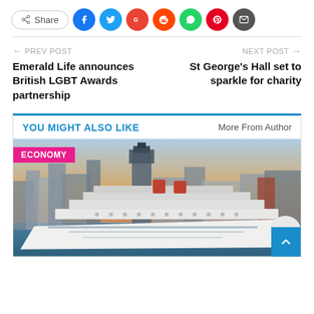[Figure (screenshot): Social share bar with Share button, Facebook, Twitter, Google, Reddit, WhatsApp, Pinterest, and Email icons]
← PREV POST
Emerald Life announces British LGBT Awards partnership
NEXT POST →
St George's Hall set to sparkle for charity
YOU MIGHT ALSO LIKE
More From Author
[Figure (photo): Cruise ship docked at a city waterfront with historic buildings in background, ECONOMY tag overlay in pink]